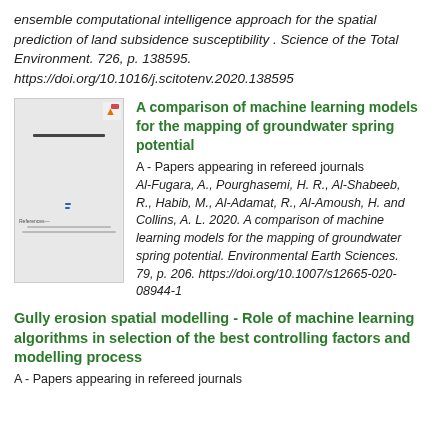ensemble computational intelligence approach for the spatial prediction of land subsidence susceptibility . Science of the Total Environment. 726, p. 138595. https://doi.org/10.1016/j.scitotenv.2020.138595
[Figure (screenshot): Thumbnail image of an academic paper titled 'Fundamental Research Questions' with a box of abstract text, blue hyperlinks, and a footer line.]
A comparison of machine learning models for the mapping of groundwater spring potential
A - Papers appearing in refereed journals
Al-Fugara, A., Pourghasemi, H. R., Al-Shabeeb, R., Habib, M., Al-Adamat, R., Al-Amoush, H. and Collins, A. L. 2020. A comparison of machine learning models for the mapping of groundwater spring potential. Environmental Earth Sciences. 79, p. 206. https://doi.org/10.1007/s12665-020-08944-1
Gully erosion spatial modelling - Role of machine learning algorithms in selection of the best controlling factors and modelling process
A - Papers appearing in refereed journals